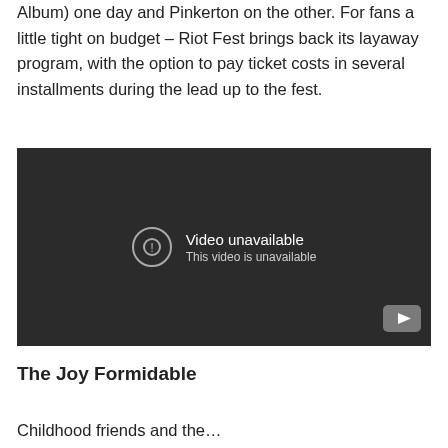Album) one day and Pinkerton on the other. For fans a little tight on budget – Riot Fest brings back its layaway program, with the option to pay ticket costs in several installments during the lead up to the fest.
[Figure (screenshot): Embedded YouTube video player showing 'Video unavailable. This video is unavailable.' message on a dark background, with YouTube logo in bottom right corner.]
The Joy Formidable
Childhood friends and the…Riot Fest…could be in...